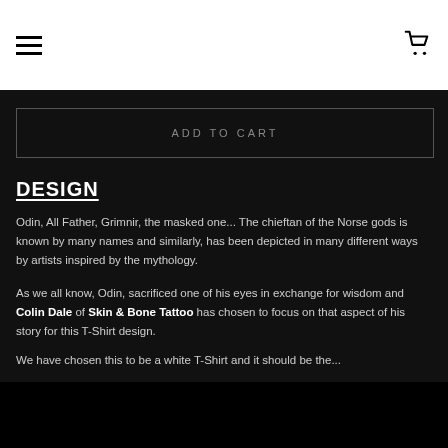[hamburger menu] [cart icon]
ADD TO CART
DESIGN
Odin, All Father, Grimnir, the masked one... The chieftan of the Norse gods is known by many names and similarly, has been depicted in many different ways by artists inspired by the mythology.
As we all know, Odin, sacrificed one of his eyes in exchange for wisdom and Colin Dale of Skin & Bone Tattoo has chosen to focus on that aspect of his story for this T-Shirt design.
We have chosen this to be a white T-Shirt and it should be the...